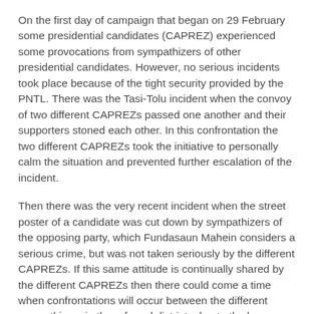On the first day of campaign that began on 29 February some presidential candidates (CAPREZ) experienced some provocations from sympathizers of other presidential candidates. However, no serious incidents took place because of the tight security provided by the PNTL. There was the Tasi-Tolu incident when the convoy of two different CAPREZs passed one another and their supporters stoned each other. In this confrontation the two different CAPREZs took the initiative to personally calm the situation and prevented further escalation of the incident.
Then there was the very recent incident when the street poster of a candidate was cut down by sympathizers of the opposing party, which Fundasaun Mahein considers a serious crime, but was not taken seriously by the different CAPREZs. If this same attitude is continually shared by the different CAPREZs then there could come a time when confrontations will occur between the different sympathizers in the referred districts due to the large number of supporters in those places.
Therefore, Fundasaun Mahein would like to appeal to the